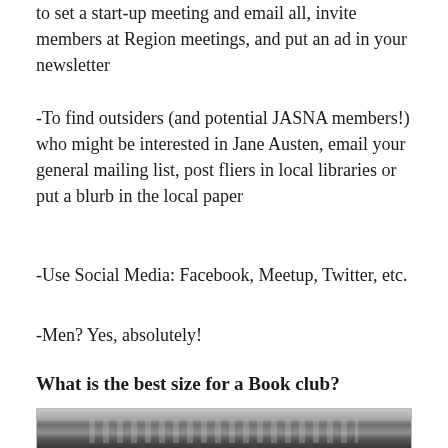to set a start-up meeting and email all, invite members at Region meetings, and put an ad in your newsletter
-To find outsiders (and potential JASNA members!) who might be interested in Jane Austen, email your general mailing list, post fliers in local libraries or put a blurb in the local paper
-Use Social Media: Facebook, Meetup, Twitter, etc.
-Men? Yes, absolutely!
What is the best size for a Book club?
[Figure (photo): Black and white photo of a historic building exterior, showing ornate architectural details and decorative facade.]